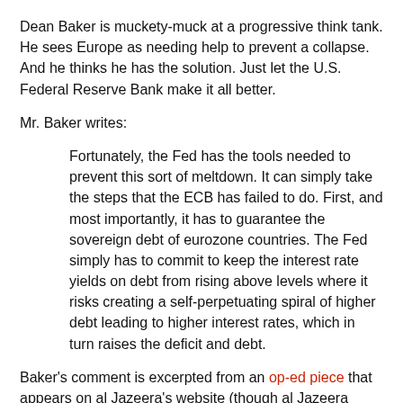Dean Baker is muckety-muck at a progressive think tank. He sees Europe as needing help to prevent a collapse. And he thinks he has the solution. Just let the U.S. Federal Reserve Bank make it all better.
Mr. Baker writes:
Fortunately, the Fed has the tools needed to prevent this sort of meltdown. It can simply take the steps that the ECB has failed to do. First, and most importantly, it has to guarantee the sovereign debt of eurozone countries. The Fed simply has to commit to keep the interest rate yields on debt from rising above levels where it risks creating a self-perpetuating spiral of higher debt leading to higher interest rates, which in turn raises the deficit and debt.
Baker's comment is excerpted from an op-ed piece that appears on al Jazeera's website (though al Jazeera wisely denies any claim to the opinion expressed).